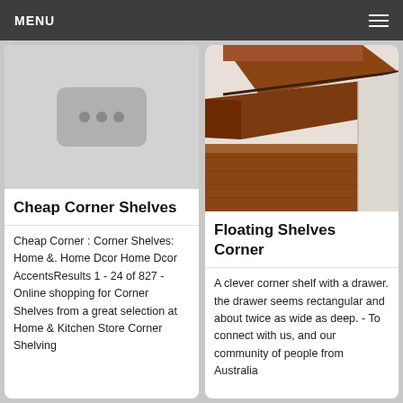MENU
[Figure (photo): Placeholder image icon with three dots on grey background representing Cheap Corner Shelves]
Cheap Corner Shelves
Cheap Corner : Corner Shelves: Home &. Home Dcor Home Dcor AccentsResults 1 - 24 of 827 - Online shopping for Corner Shelves from a great selection at Home & Kitchen Store Corner Shelving
[Figure (photo): Photo of a wooden corner floating shelf with a drawer, shot from above at an angle, showing wood grain texture]
Floating Shelves Corner
A clever corner shelf with a drawer. the drawer seems rectangular and about twice as wide as deep. - To connect with us, and our community of people from Australia